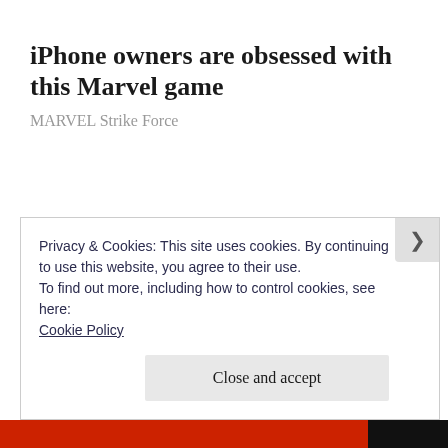iPhone owners are obsessed with this Marvel game
MARVEL Strike Force
Privacy & Cookies: This site uses cookies. By continuing to use this website, you agree to their use.
To find out more, including how to control cookies, see here:
Cookie Policy
Close and accept